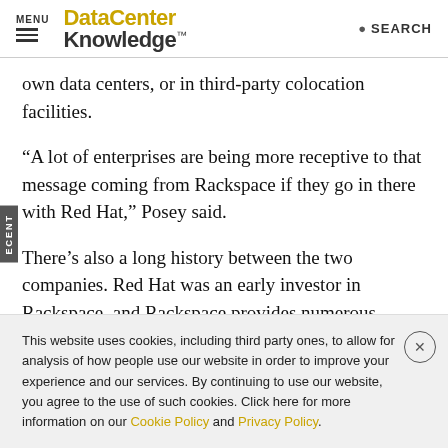MENU | DataCenter Knowledge. | SEARCH
own data centers, or in third-party colocation facilities.
“A lot of enterprises are being more receptive to that message coming from Rackspace if they go in there with Red Hat,” Posey said.
There’s also a long history between the two companies. Red Hat was an early investor in Rackspace, and Rackspace provides numerous services around Red Hat’s enterprise
This website uses cookies, including third party ones, to allow for analysis of how people use our website in order to improve your experience and our services. By continuing to use our website, you agree to the use of such cookies. Click here for more information on our Cookie Policy and Privacy Policy.